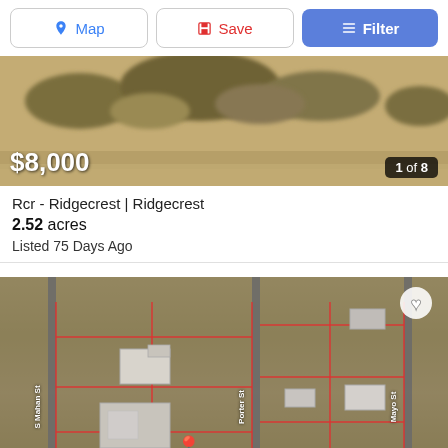[Figure (screenshot): Top navigation bar with Map, Save, and Filter buttons]
[Figure (photo): Aerial satellite photo of desert land parcel showing scrub brush and dirt terrain]
$8,000
1 of 8
Rcr - Ridgecrest | Ridgecrest
2.52 acres
Listed 75 Days Ago
[Figure (map): Aerial satellite map showing property parcels outlined in red near S Mahan St, Porter St, and Mayo St in Ridgecrest with a red location pin marker and heart icon]